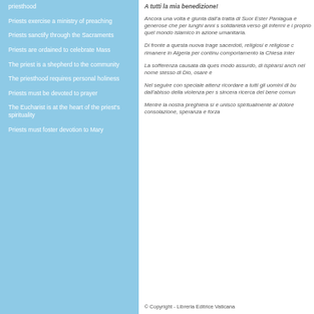priesthood
Priests exercise a ministry of preaching
Priests sanctify through the Sacraments
Priests are ordained to celebrate Mass
The priest is a shepherd to the community
The priesthood requires personal holiness
Priests must be devoted to prayer
The Eucharist is at the heart of the priest's spirituality
Priests must foster devotion to Mary
A tutti la mia benedizione!
Ancora una volta è giunta dall'a… tratta di Suor Ester Paniagua e… generose che per lunghi anni s… solidarietà verso gli infermi e i p… proprio quel mondo islamico in… azione umanitaria.
Di fronte a questa nuova trage… sacerdoti, religiosi e religiose c… rimanere in Algeria per continu… comportamento la Chiesa inter…
La sofferenza causata da ques… modo assurdo, di ispirarsi anch… nel nome stesso di Dio, osare e…
Nel seguire con speciale attenzi… ricordare a tutti gli uomini di bu… dall'abisso della violenza per s… sincera ricerca del bene comun…
Mentre la nostra preghiera si e… unisco spiritualmente al dolore… consolazione, speranza e forza…
© Copyright - Libreria Editrice Vaticana